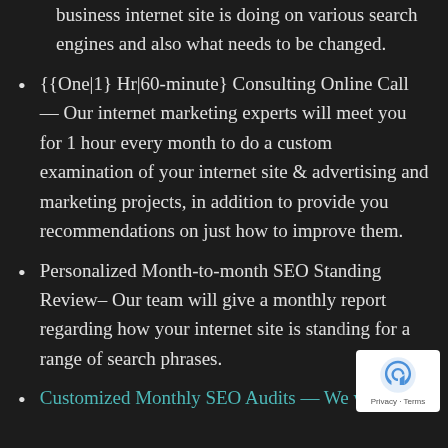business internet site is doing on various search engines and also what needs to be changed.
{{One|1} Hr|60-minute} Consulting Online Call — Our internet marketing experts will meet you for 1 hour every month to do a custom examination of your internet site & advertising and marketing projects, in addition to provide you recommendations on just how to improve them.
Personalized Month-to-month SEO Standing Review– Our team will give a monthly report regarding how your internet site is standing for a range of search phrases.
Customized Monthly SEO Audits — We will